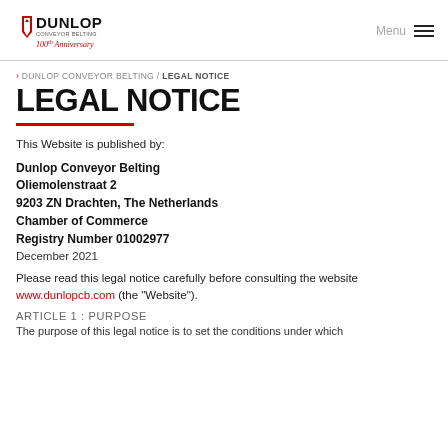Dunlop Conveyor Belting – 100th Anniversary | Menu
> DUNLOP CONVEYOR BELTING / LEGAL NOTICE
LEGAL NOTICE
This Website is published by:
Dunlop Conveyor Belting
Oliemolenstraat 2
9203 ZN Drachten, The Netherlands
Chamber of Commerce
Registry Number 01002977
December 2021
Please read this legal notice carefully before consulting the website www.dunlopcb.com (the "Website").
ARTICLE 1 : PURPOSE
The purpose of this legal notice is to set the conditions under which